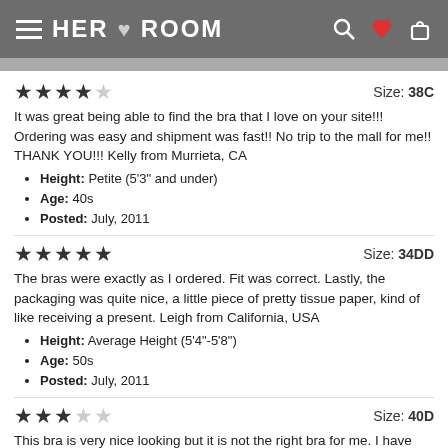HER ROOM
It was great being able to find the bra that I love on your site!!! Ordering was easy and shipment was fast!! No trip to the mall for me!! THANK YOU!!! Kelly from Murrieta, CA
Height: Petite (5'3" and under)
Age: 40s
Posted: July, 2011
The bras were exactly as I ordered. Fit was correct. Lastly, the packaging was quite nice, a little piece of pretty tissue paper, kind of like receiving a present. Leigh from California, USA
Height: Average Height (5'4"-5'8")
Age: 50s
Posted: July, 2011
This bra is very nice looking but it is not the right bra for me. I have returned it. Madlyn from United States
Height: Petite (5'3" and under)